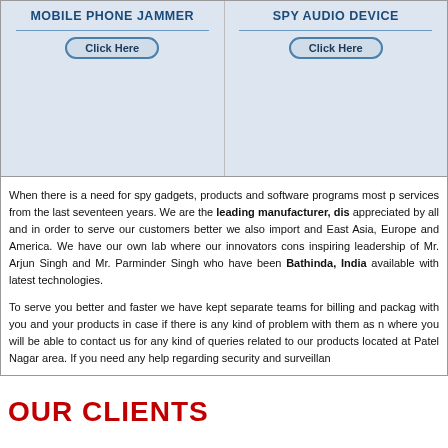[Figure (other): Ad box for Mobile Phone Jammer with Click Here button]
[Figure (other): Ad box for Spy Audio Device with Click Here button]
When there is a need for spy gadgets, products and software programs most p services from the last seventeen years. We are the leading manufacturer, dis appreciated by all and in order to serve our customers better we also import and East Asia, Europe and America. We have our own lab where our innovators cons inspiring leadership of Mr. Arjun Singh and Mr. Parminder Singh who have been Bathinda, India available with latest technologies.
To serve you better and faster we have kept separate teams for billing and packag with you and your products in case if there is any kind of problem with them as n where you will be able to contact us for any kind of queries related to our products located at Patel Nagar area. If you need any help regarding security and surveillan
OUR CLIENTS